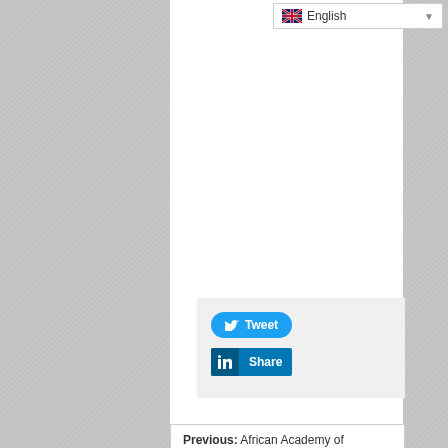[Figure (screenshot): Language selector dropdown showing UK flag and 'English' label with dropdown arrow]
[Figure (screenshot): Tweet button (blue rounded) and LinkedIn Share button (blue square) social sharing widget on grey background]
Previous: African Academy of